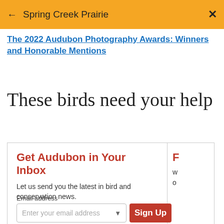← Spring Creek Prairie ×
The 2022 Audubon Photography Awards: Winners and Honorable Mentions
These birds need your help
Get Audubon in Your Inbox
Let us send you the latest in bird and conservation news.
Email address
Enter your email address
Sign Up